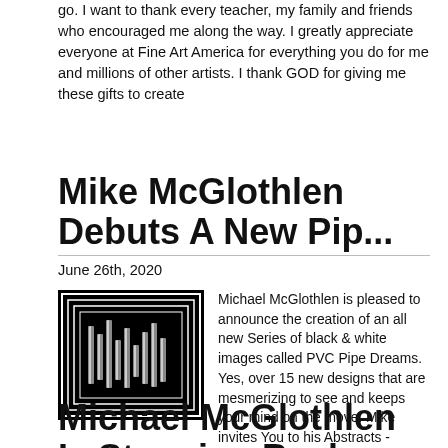go. I want to thank every teacher, my family and friends who encouraged me along the way. I greatly appreciate everyone at Fine Art America for everything you do for me and millions of other artists. I thank GOD for giving me these gifts to create
Mike McGlothlen Debuts A New Pip...
June 26th, 2020
[Figure (illustration): Black and white abstract image showing vertical bars resembling PVC pipes arranged in a pattern with concentric rectangular borders, on a black background.]
Michael McGlothlen is pleased to announce the creation of an all new Series of black & white images called PVC Pipe Dreams. Yes, over 15 new designs that are mesmerizing to see and keeps your mind on the move. Mike invites You to his Abstracts - Modern Gallery and have a look at these new images. This is an ongoing series so check back later to see even more new images. Thank you!
Michael McGlothlen Is Stepping Back